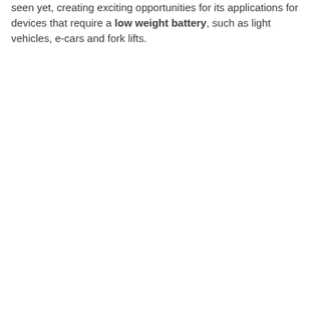seen yet, creating exciting opportunities for its applications for devices that require a low weight battery, such as light vehicles, e-cars and fork lifts.